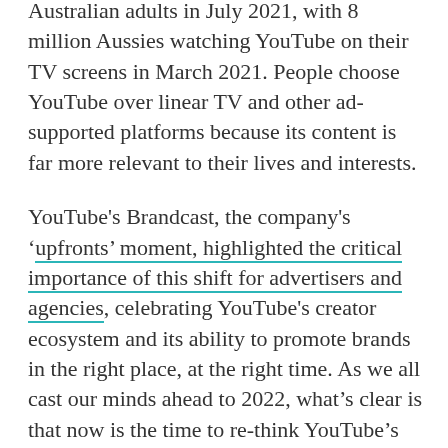Australian adults in July 2021, with 8 million Aussies watching YouTube on their TV screens in March 2021. People choose YouTube over linear TV and other ad-supported platforms because its content is far more relevant to their lives and interests.
YouTube's Brandcast, the company's 'upfronts' moment, highlighted the critical importance of this shift for advertisers and agencies, celebrating YouTube's creator ecosystem and its ability to promote brands in the right place, at the right time. As we all cast our minds ahead to 2022, what's clear is that now is the time to re-think YouTube's role in the media mix.